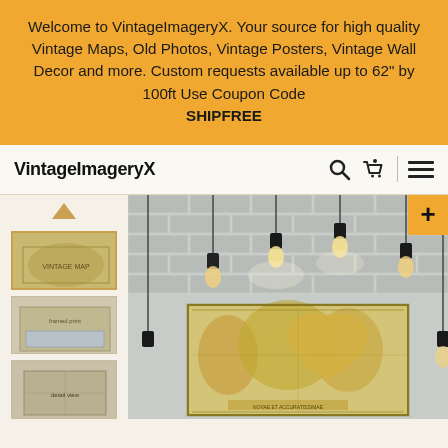Welcome to VintageImageryX. Your source for high quality Vintage Maps, Old Photos, Vintage Posters, Vintage Wall Decor and more. Custom requests available up to 62" by 100ft Use Coupon Code SHIPFREE
VintageImageryX
[Figure (screenshot): E-commerce product page for VintageImageryX showing a vintage world map poster displayed on a white brick wall with hanging Edison bulb lights. Left sidebar shows thumbnail images of the product.]